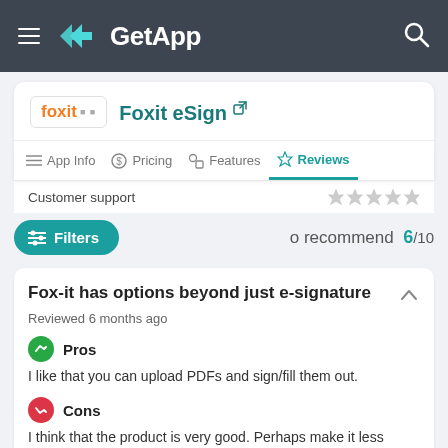GetApp
Foxit eSign
App Info  Pricing  Features  Reviews
Customer support
Filters  recommend  6/10
Fox-it has options beyond just e-signature
Reviewed 6 months ago
Pros
I like that you can upload PDFs and sign/fill them out.
Cons
I think that the product is very good. Perhaps make it less